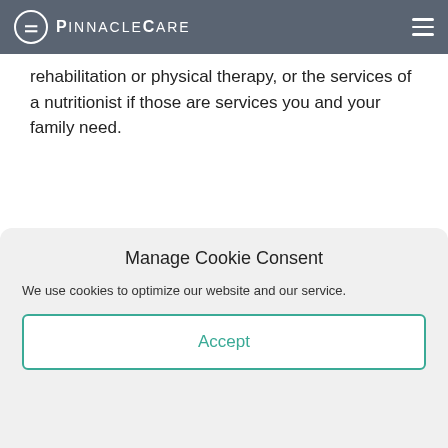PinnacleCare
rehabilitation or physical therapy, or the services of a nutritionist if those are services you and your family need.
Topics: Health Insurance
[Figure (other): Social share buttons: LinkedIn, Facebook, Twitter, Email]
[Figure (other): Gray content band]
Manage Cookie Consent
We use cookies to optimize our website and our service.
Accept